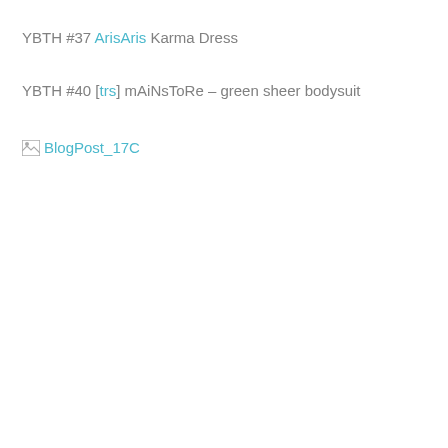YBTH #37 ArisAris Karma Dress
YBTH #40 [trs] mAiNsToRe – green sheer bodysuit
[Figure (photo): Broken image placeholder labeled BlogPost_17C]